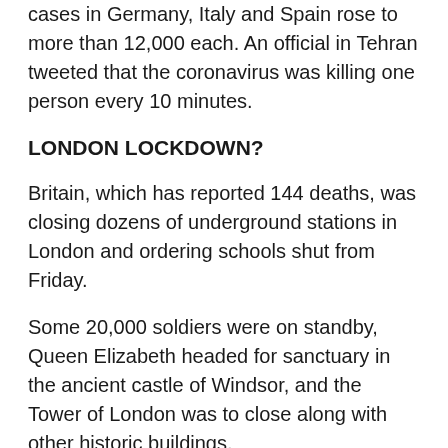cases in Germany, Italy and Spain rose to more than 12,000 each. An official in Tehran tweeted that the coronavirus was killing one person every 10 minutes.
LONDON LOCKDOWN?
Britain, which has reported 144 deaths, was closing dozens of underground stations in London and ordering schools shut from Friday.
Some 20,000 soldiers were on standby, Queen Elizabeth headed for sanctuary in the ancient castle of Windsor, and the Tower of London was to close along with other historic buildings.
“Many of us will need to find new ways of staying in touch with each other and making sure that loved ones are safe,” the 93-year-old monarch said in an address to the nation.
“I am certain we are up to that challenge,” she added.